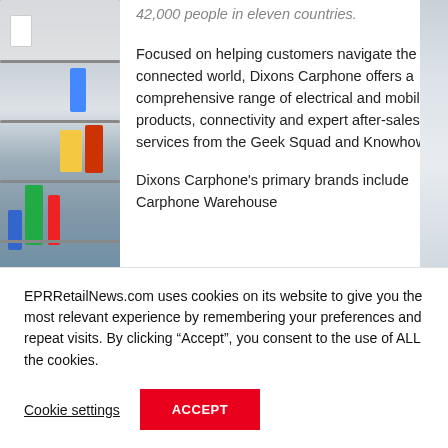[Figure (photo): Left side: photo of retail store shelves with colorful products. Right edge: partial image/sidebar.]
42,000 people in eleven countries.
Focused on helping customers navigate the connected world, Dixons Carphone offers a comprehensive range of electrical and mobile products, connectivity and expert after-sales services from the Geek Squad and Knowhow.
Dixons Carphone's primary brands include Carphone Warehouse
EPRRetailNews.com uses cookies on its website to give you the most relevant experience by remembering your preferences and repeat visits. By clicking “Accept”, you consent to the use of ALL the cookies.
Cookie settings
ACCEPT